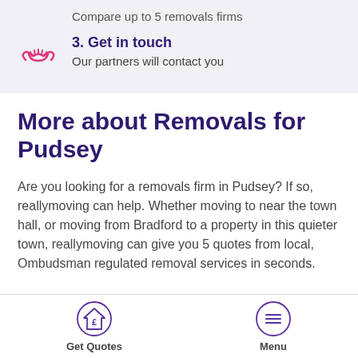Compare up to 5 removals firms
3. Get in touch
Our partners will contact you
More about Removals for Pudsey
Are you looking for a removals firm in Pudsey? If so, reallymoving can help. Whether moving to near the town hall, or moving from Bradford to a property in this quieter town, reallymoving can give you 5 quotes from local, Ombudsman regulated removal services in seconds.
Get Quotes
Menu